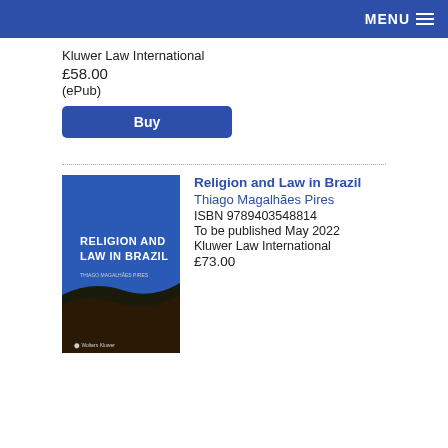MENU
Kluwer Law International
£58.00
(ePub)
Buy
[Figure (illustration): Book cover for Religion and Law in Brazil, featuring blue upper section with white title text and dark lower section with Wolters Kluwer logo]
Religion and Law in Brazil
Thiago Magalhães Pires
ISBN 9789403548814
To be published May 2022
Kluwer Law International
£73.00